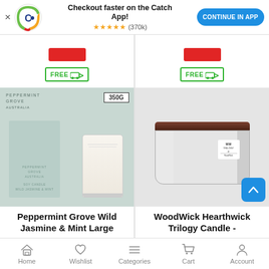Checkout faster on the Catch App! ★★★★★ (370k) CONTINUE IN APP
[Figure (photo): Partial product cards showing red sale badges and FREE shipping icons with truck]
[Figure (photo): Peppermint Grove Wild Jasmine & Mint Large Soy Candle 350G product image with box and glass candle on teal background]
Peppermint Grove Wild Jasmine & Mint Large
Peppermint Grove
[Figure (photo): WoodWick Hearthwick Trilogy Candle in grey glass vessel with dark wood lid, scroll-up button visible]
WoodWick Hearthwick Trilogy Candle -
Woodwick
Home  Wishlist  Categories  Cart  Account